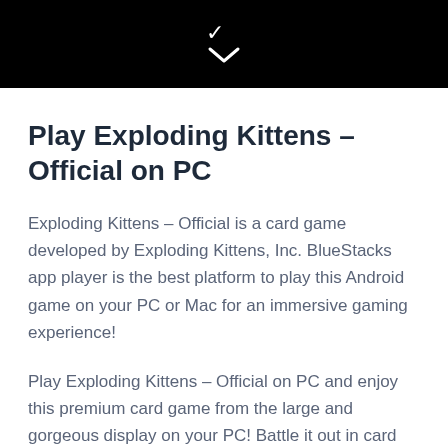[Figure (other): Black header bar with a white downward chevron/arrow icon centered]
Play Exploding Kittens – Official on PC
Exploding Kittens – Official is a card game developed by Exploding Kittens, Inc. BlueStacks app player is the best platform to play this Android game on your PC or Mac for an immersive gaming experience!
Play Exploding Kittens – Official on PC and enjoy this premium card game from the large and gorgeous display on your PC! Battle it out in card